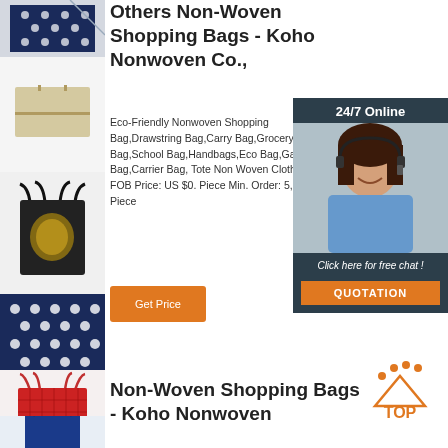[Figure (photo): Thumbnail of polka dot fabric bag corner]
[Figure (photo): Thumbnail of beige/tan flat pouch bag]
Others Non-Woven Shopping Bags - Koho Nonwoven Co.,
[Figure (photo): Thumbnail of black tote bag with golden design]
Eco-Friendly Nonwoven Shopping Bag,Drawstring Bag,Carry Bag,Grocery Bag,School Bag,Handbags,Eco Bag,Garment Bag,Carrier Bag, Tote Non Woven Cloth Bag FOB Price: US $0. Piece Min. Order: 5,000 Piece
[Figure (photo): Thumbnail of polka dot navy fabric close-up]
[Figure (infographic): 24/7 Online chat widget with customer service photo and Click here for free chat and QUOTATION button]
[Figure (photo): Thumbnail of red tote bag]
Get Price
[Figure (logo): TOP icon in orange with dots forming triangle]
[Figure (photo): Thumbnail of blue tote bag handle]
Non-Woven Shopping Bags - Koho Nonwoven